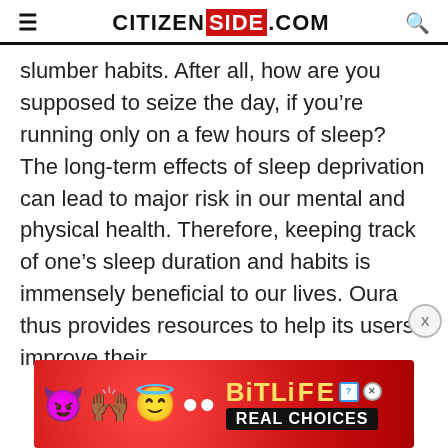CITIZENSIDE.COM
slumber habits. After all, how are you supposed to seize the day, if you’re running only on a few hours of sleep? The long-term effects of sleep deprivation can lead to major risk in our mental and physical health. Therefore, keeping track of one’s sleep duration and habits is immensely beneficial to our lives. Oura thus provides resources to help its users improve their
[Figure (screenshot): BitLife REAL CHOICES advertisement banner with emoji characters on a red background]